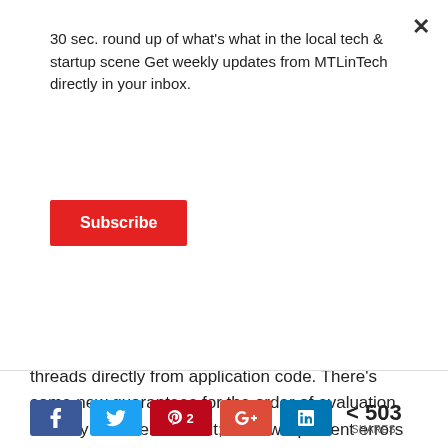30 sec. round up of what's what in the local tech & startup scene Get weekly updates from MTLinTech directly in your inbox.
Subscribe
threads directly from application code. There's some new guarantees for the order of evaluation. Nobody will ever notice it; but it will prevent errors from happening. There's some better guarantees for eliminating copies, that's also one of these invisible improvements that will be important over time. The point is that just giving a list of features is boring. If you are doing vectorization, which a lot of people do, you can now dynamically allocate something that requires greater
503 SHARES